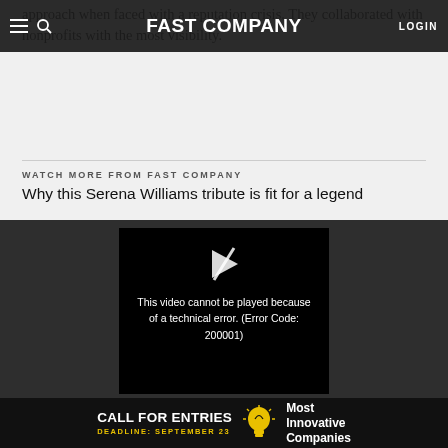approach when faced with a reputation crisis. They collaborated with nonprofits with the most visibility.
FAST COMPANY — LOGIN
WATCH MORE FROM FAST COMPANY
Why this Serena Williams tribute is fit for a legend
[Figure (screenshot): Embedded video player showing error message: 'This video cannot be played because of a technical error. (Error Code: 200001)']
[Figure (infographic): Advertisement banner: CALL FOR ENTRIES — DEADLINE: SEPTEMBER 23 — Most Innovative Companies, with lightbulb icon]